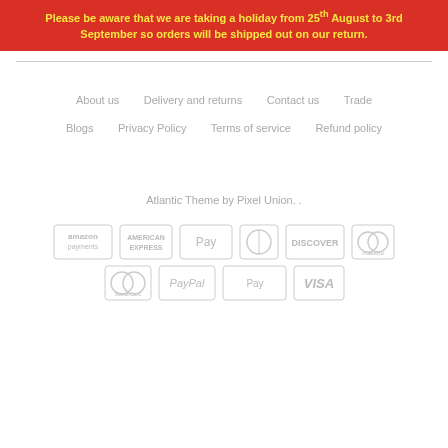Please be aware that we are taking a holiday from 25th August to 3rd September so orders will be shipped out on our return.
About us
Delivery and returns
Contact us
Trade
Blogs
Privacy Policy
Terms of service
Refund policy
Atlantic Theme by Pixel Union. .
[Figure (logo): Payment method logos: Amazon Payments, American Express, Apple Pay, Diners Club, Discover, Maestro, MasterCard, PayPal, Shopify Pay, VISA]